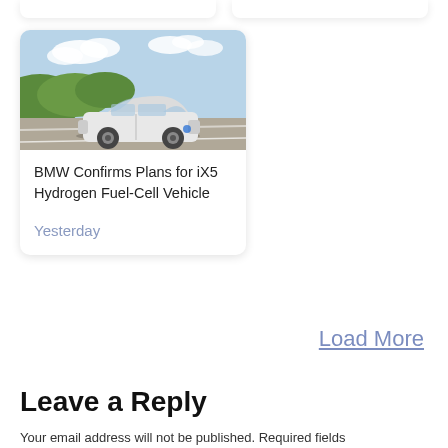[Figure (screenshot): Two card stubs at top of page, partially visible, white card shapes with shadow]
[Figure (photo): BMW iX5 white SUV driving on road with green hills and blue sky in background]
BMW Confirms Plans for iX5 Hydrogen Fuel-Cell Vehicle
Yesterday
Load More
Leave a Reply
Your email address will not be published. Required fields